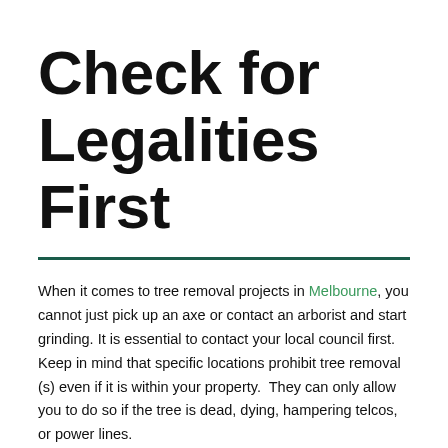Check for Legalities First
When it comes to tree removal projects in Melbourne, you cannot just pick up an axe or contact an arborist and start grinding. It is essential to contact your local council first. Keep in mind that specific locations prohibit tree removal (s) even if it is within your property.  They can only allow you to do so if the tree is dead, dying, hampering telcos, or power lines.
In most cases, you'll still need to request a permit from the